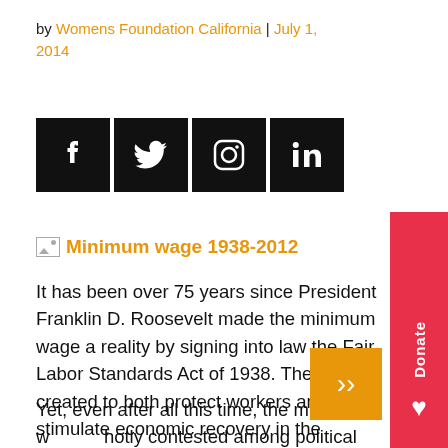by Womens Foundation California | July 1, 2014
[Figure (other): Social media icons: Facebook, Twitter, Instagram, LinkedIn (black square buttons with white icons)]
Minimum wage 1938-2012
It has been over 75 years since President Franklin D. Roosevelt made the minimum wage a reality by signing into law the Fair Labor Standards Act of 1938. The Act was created to both protect workers and stimulate economic recovery in the aftermath of the Great Depression. It achieved both.
Yet, even after all this time, the minimum wage is hotly contested among political parties, the courts,